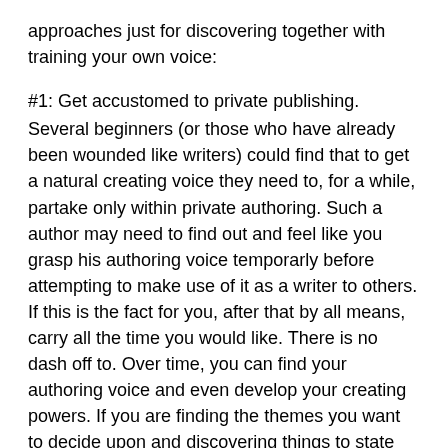approaches just for discovering together with training your own voice:
#1: Get accustomed to private publishing. Several beginners (or those who have already been wounded like writers) could find that to get a natural creating voice they need to, for a while, partake only within private authoring. Such a author may need to find out and feel like you grasp his authoring voice temporarly before attempting to make use of it as a writer to others. If this is the fact for you, after that by all means, carry all the time you would like. There is no dash off to. Over time, you can find your authoring voice and even develop your creating powers. If you are finding the themes you want to decide upon and discovering things to state about them, you will also be practicing utilizing your voice on the page. So when you have what things to say that you really want that you want to see others-I would like to tell you the following! Listen to the actual cool items I've discovered! -